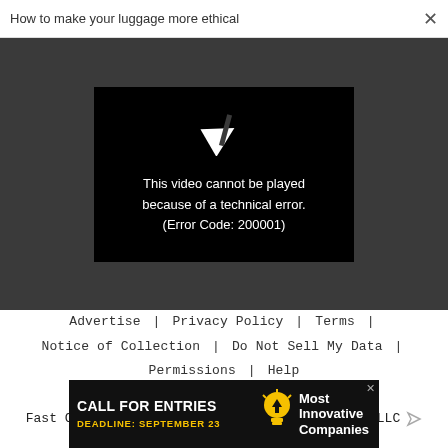How to make your luggage more ethical  ×
[Figure (screenshot): Video player showing error: 'This video cannot be played because of a technical error. (Error Code: 200001)' on a black background with a broken play icon, set in a dark gray video embed area.]
Advertise | Privacy Policy | Terms | Notice of Collection | Do Not Sell My Data | Permissions | Help Center | About Us | Site Map | Fast Company & Inc © 2022 Mansueto Ventures, LLC
[Figure (infographic): Advertisement banner: 'CALL FOR ENTRIES DEADLINE: SEPTEMBER 23' with a lightbulb icon and text 'Most Innovative Companies' on dark background.]